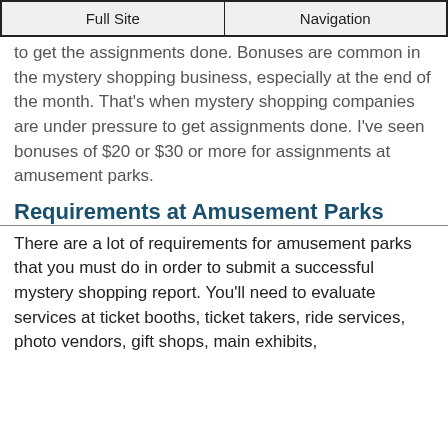Full Site | Navigation
...to get the assignments done.  Bonuses are common in the mystery shopping business, especially at the end of the month.  That's when mystery shopping companies are under pressure to get assignments done.  I've seen bonuses of $20 or $30 or more for assignments at amusement parks.
Requirements at Amusement Parks
There are a lot of requirements for amusement parks that you must do in order to submit a successful mystery shopping report.  You'll need to evaluate services at ticket booths, ticket takers, ride services, photo vendors, gift shops, main exhibits,